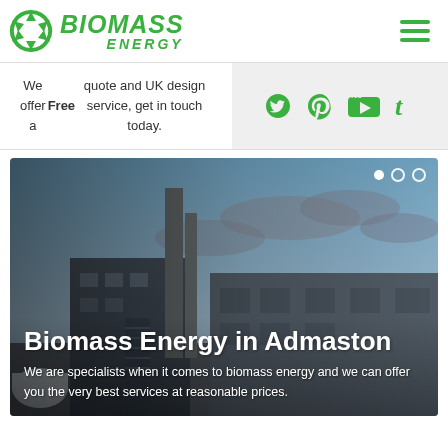BIOMASS ENERGY
We offer a Free quote and UK design service, get in touch today.
[Figure (screenshot): Social media icons: Twitter, Pinterest, YouTube, Tumblr in green on light grey background]
[Figure (photo): Biomass energy facility / industrial plant building with chimney stack against cloudy blue sky]
Biomass Energy in Admaston
We are specialists when it comes to biomass energy and we can offer you the very best services at reasonable prices.